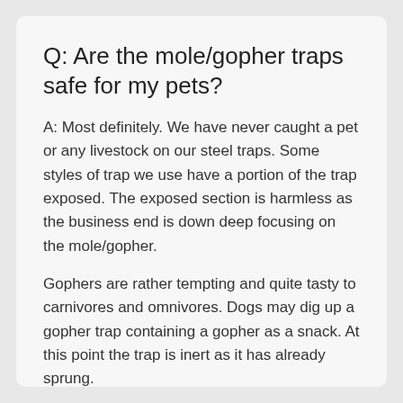Q: Are the mole/gopher traps safe for my pets?
A: Most definitely. We have never caught a pet or any livestock on our steel traps. Some styles of trap we use have a portion of the trap exposed. The exposed section is harmless as the business end is down deep focusing on the mole/gopher.
Gophers are rather tempting and quite tasty to carnivores and omnivores. Dogs may dig up a gopher trap containing a gopher as a snack. At this point the trap is inert as it has already sprung.